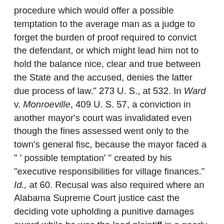procedure which would offer a possible temptation to the average man as a judge to forget the burden of proof required to convict the defendant, or which might lead him not to hold the balance nice, clear and true between the State and the accused, denies the latter due process of law." 273 U. S., at 532. In Ward v. Monroeville, 409 U. S. 57, a conviction in another mayor's court was invalidated even though the fines assessed went only to the town's general fisc, because the mayor faced a " ' possible temptation' " created by his "executive responsibilities for village finances." Id., at 60. Recusal was also required where an Alabama Supreme Court justice cast the deciding vote upholding a punitive damages award while he was the lead plaintiff in a nearly identical suit pending in Alabama's lower courts. Aetna Life Ins. Co. v. Lavoie, 475 U. S. 813. The proper constitutional inquiry was not "whether in fact [the justice] was influenced," id., at 825, but "whether sitting on [that] case ... ' "would offer a possible temptation to the